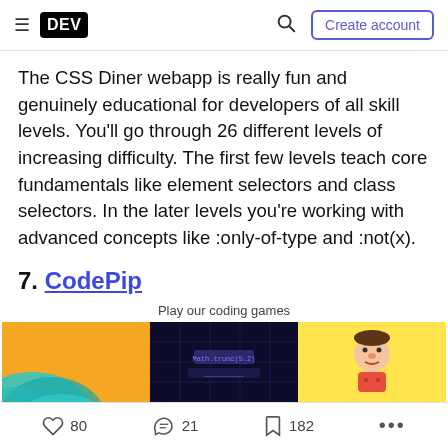DEV | Create account
The CSS Diner webapp is really fun and genuinely educational for developers of all skill levels. You'll go through 26 different levels of increasing difficulty. The first few levels teach core fundamentals like element selectors and class selectors. In the later levels you're working with advanced concepts like :only-of-type and :not(x).
7. CodePip
[Figure (screenshot): CodePip website screenshot showing 'Play our coding games' with three game thumbnails: a teal wave on orange background, a dark coding game screenshot, and a cartoon character on yellow background.]
80 likes  21 reactions  182 saves